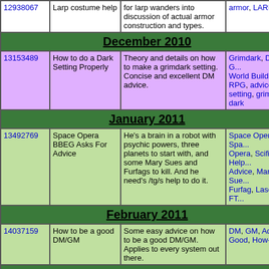| ID | Title | Description | Tags |
| --- | --- | --- | --- |
| 12938067 | Larp costume help | for larp wanders into discussion of actual armor construction and types. | armor, LARP, adv... |
| December 2010 |  |  |  |
| 13153489 | How to do a Dark Setting Properly | Theory and details on how to make a grimdark setting. Concise and excellent DM advice. | Grimdark, DM, G... World Building, RPG, advice, setting, grim and dark |
| January 2011 |  |  |  |
| 13492769 | Space Opera BBEG Asks For Advice | He's a brain in a robot with psychic powers, three planets to start with, and some Mary Sues and Furfags to kill. And he need's /tg/s help to do it. | Space Opera, Spa... Opera, Scifi, Help... Advice, Mary Sue... Furfag, Lasers, FT... |
| February 2011 |  |  |  |
| 14037159 | How to be a good DM/GM | Some easy advice on how to be a good DM/GM. Applies to every system out there. | DM, GM, Advice, Good, How-to |
| April 2011 |  |  |  |
| 14711890 | Final Fantas RPG DMing advice | OP asks for a RPG that has a FF feel. FFRPG is introduced and DMing advice is given. | FFRPG, final fantasy, dm, advic... setting |